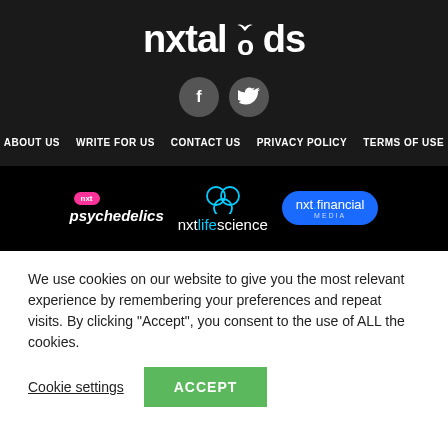[Figure (logo): nxtaltfoods logo in white text on dark background with leaf icon replacing the 'o']
[Figure (infographic): Two circular social media icons: Facebook (f) and Twitter (bird) on dark grey circles]
ABOUT US   WRITE FOR US   CONTACT US   PRIVACY POLICY   TERMS OF USE
[Figure (infographic): Three partner logos: nxt psychedelics (pink badge, italic white text), nxtlifescience (hexagon icon, cyan/white text), nxt.financial media (blue oval badge)]
We use cookies on our website to give you the most relevant experience by remembering your preferences and repeat visits. By clicking “Accept”, you consent to the use of ALL the cookies.
Cookie settings   ACCEPT